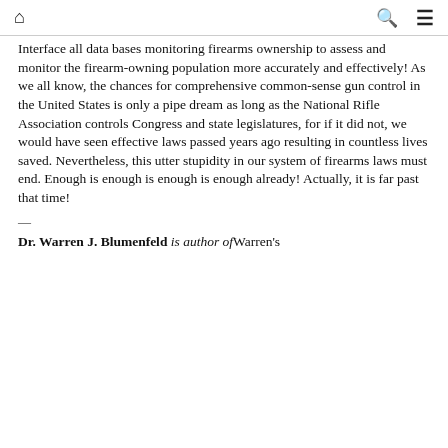🏠 🔍 ☰
Interface all data bases monitoring firearms ownership to assess and monitor the firearm-owning population more accurately and effectively! As we all know, the chances for comprehensive common-sense gun control in the United States is only a pipe dream as long as the National Rifle Association controls Congress and state legislatures, for if it did not, we would have seen effective laws passed years ago resulting in countless lives saved. Nevertheless, this utter stupidity in our system of firearms laws must end. Enough is enough is enough is enough already! Actually, it is far past that time!
—
Dr. Warren J. Blumenfeld is author ofWarren's